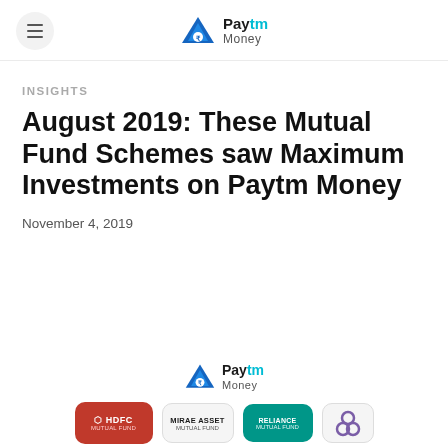[Figure (logo): Paytm Money logo in header with hamburger menu]
INSIGHTS
August 2019: These Mutual Fund Schemes saw Maximum Investments on Paytm Money
November 4, 2019
[Figure (logo): Paytm Money logo centered at bottom, with HDFC Mutual Fund, Mirae Asset, Reliance Mutual Fund, and Aditya Birla logos below]